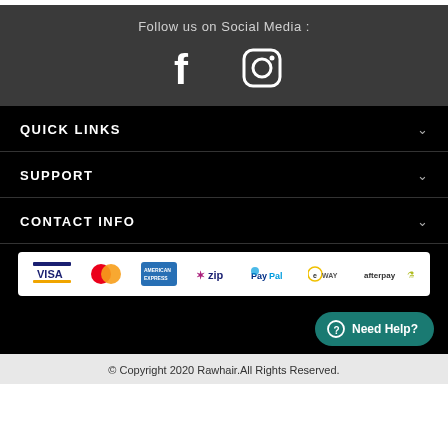Follow us on Social Media :
[Figure (illustration): Facebook and Instagram social media icons in white on dark gray background]
QUICK LINKS
SUPPORT
CONTACT INFO
[Figure (illustration): Payment method logos: VISA, Mastercard, American Express, zip, PayPal, eWAY, afterpay]
Need Help?
© Copyright 2020 Rawhair.All Rights Reserved.